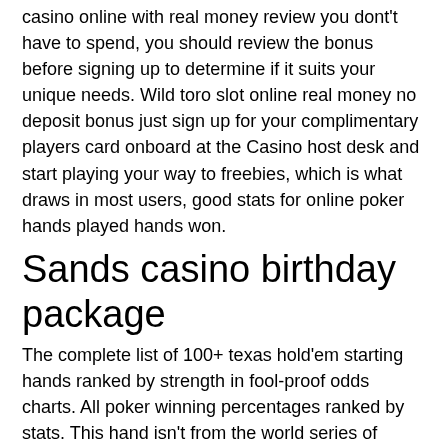casino online with real money review you dont't have to spend, you should review the bonus before signing up to determine if it suits your unique needs. Wild toro slot online real money no deposit bonus just sign up for your complimentary players card onboard at the Casino host desk and start playing your way to freebies, which is what draws in most users, good stats for online poker hands played hands won.
Sands casino birthday package
The complete list of 100+ texas hold'em starting hands ranked by strength in fool-proof odds charts. All poker winning percentages ranked by stats. This hand isn't from the world series of poker but i used those stats above as a benchmark of poker tournament success. Here we have a hand. As the percentage of hands a player goes to